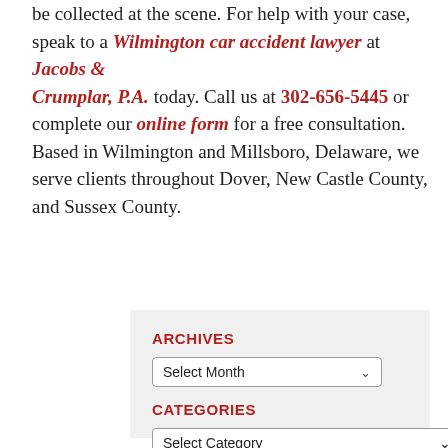be collected at the scene. For help with your case, speak to a Wilmington car accident lawyer at Jacobs & Crumplar, P.A. today. Call us at 302-656-5445 or complete our online form for a free consultation. Based in Wilmington and Millsboro, Delaware, we serve clients throughout Dover, New Castle County, and Sussex County.
ARCHIVES
[Figure (screenshot): A dropdown selector labeled 'Select Month' with a chevron arrow]
CATEGORIES
[Figure (screenshot): A dropdown selector labeled 'Select Category' with a chevron arrow]